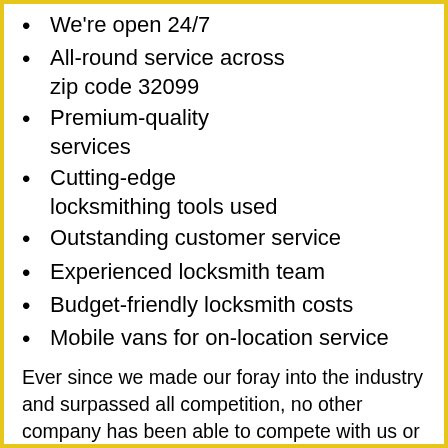We're open 24/7
All-round service across zip code 32099
Premium-quality services
Cutting-edge locksmithing tools used
Outstanding customer service
Experienced locksmith team
Budget-friendly locksmith costs
Mobile vans for on-location service
Ever since we made our foray into the industry and surpassed all competition, no other company has been able to compete with us or match the level of services we provide. The reason? Our technicians! Trained, skilled and highly experienced, our locksmiths can take on even complex challenges with ease, while others would give up midway. That's the level of technical proficiency they command and that's what has brought us this far.